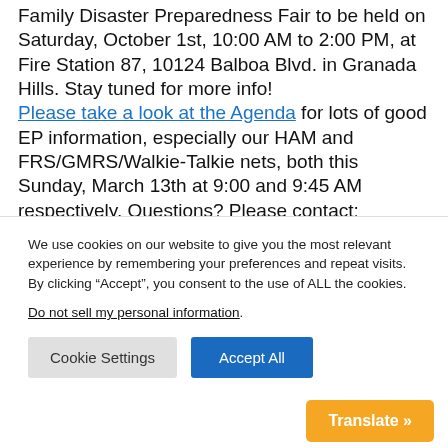Family Disaster Preparedness Fair to be held on Saturday, October 1st, 10:00 AM to 2:00 PM, at Fire Station 87, 10124 Balboa Blvd. in Granada Hills. Stay tuned for more info! Please take a look at the Agenda for lots of good EP information, especially our HAM and FRS/GMRS/Walkie-Talkie nets, both this Sunday, March 13th at 9:00 and 9:45 AM respectively. Questions? Please contact: Linda Pruett and Brian Tessier, EP Co-Chairs Lake Balboa Neighborhood Council Call: (818) 384-8375 Direct to Linda
We use cookies on our website to give you the most relevant experience by remembering your preferences and repeat visits. By clicking “Accept”, you consent to the use of ALL the cookies. Do not sell my personal information.
Cookie Settings | Accept All | Translate »